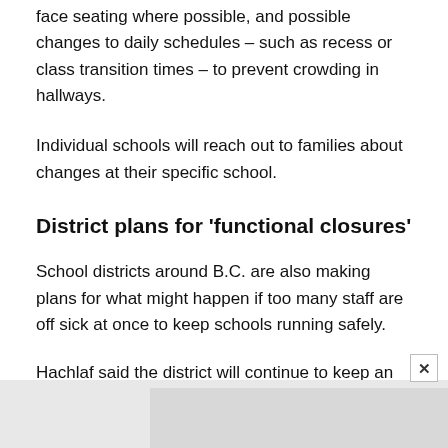face seating where possible, and possible changes to daily schedules – such as recess or class transition times – to prevent crowding in hallways.
Individual schools will reach out to families about changes at their specific school.
District plans for ‘functional closures’
School districts around B.C. are also making plans for what might happen if too many staff are off sick at once to keep schools running safely.
Hachlaf said the district will continue to keep an eye on the impact of case counts on New West’s staffing levels.
[Figure (other): Advertisement placeholder area at bottom of page with close button (x)]